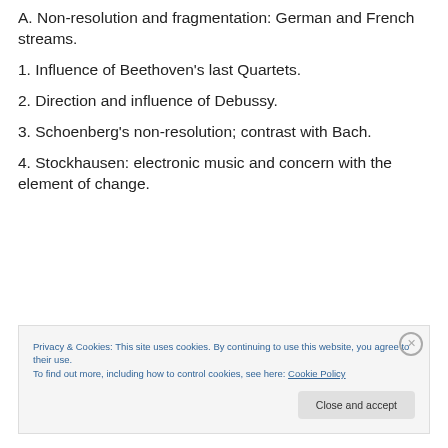A. Non-resolution and fragmentation: German and French streams.
1. Influence of Beethoven's last Quartets.
2. Direction and influence of Debussy.
3. Schoenberg's non-resolution; contrast with Bach.
4. Stockhausen: electronic music and concern with the element of change.
Privacy & Cookies: This site uses cookies. By continuing to use this website, you agree to their use. To find out more, including how to control cookies, see here: Cookie Policy